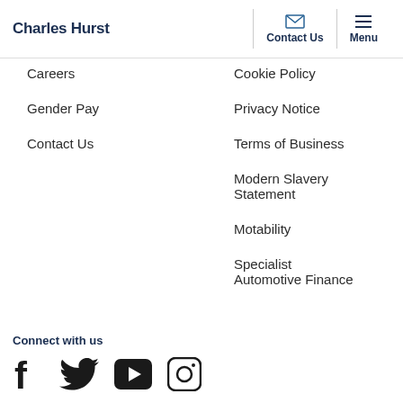Charles Hurst | Contact Us | Menu
Careers
Cookie Policy
Gender Pay
Privacy Notice
Contact Us
Terms of Business
Modern Slavery Statement
Motability
Specialist Automotive Finance
Connect with us
[Figure (illustration): Social media icons: Facebook, Twitter, YouTube, Instagram]